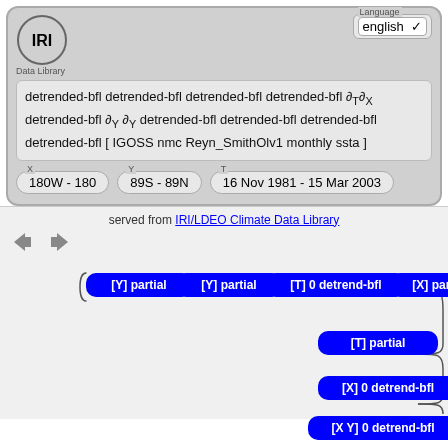[Figure (screenshot): IRI Data Library web interface showing a formula with detrended-bfl operations and partial derivatives, coordinate selectors (180W-180, 89S-89N, 16 Nov 1981 - 15 Mar 2003), a language selector set to english, and a flowchart of data processing nodes including [Y] partial, [T] 0 detrend-bfl, [X] partial, [T] partial, [X] 0 detrend-bfl, [X Y] 0 detrend-bfl steps connected by curved lines]